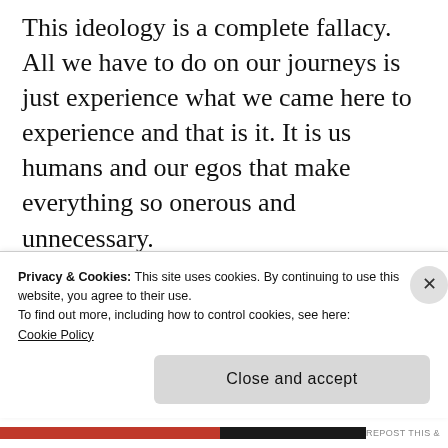This ideology is a complete fallacy. All we have to do on our journeys is just experience what we came here to experience and that is it. It is us humans and our egos that make everything so onerous and unnecessary.
[Figure (screenshot): Advertisement banner with partial heading 'and on a budget?', subtitle 'Let us build it for you', a 'Let's get started' button, and a circular photo of a person's hands.]
Privacy & Cookies: This site uses cookies. By continuing to use this website, you agree to their use.
To find out more, including how to control cookies, see here:
Cookie Policy
Close and accept